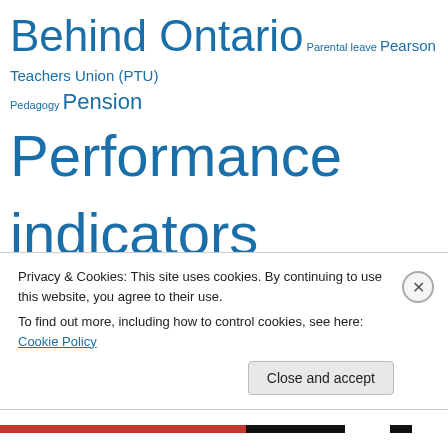Behind Ontario Parental leave Pearson Teachers Union (PTU) Pedagogy Pension Performance indicators PISA results PLQ PQ Private schools Private school subsidies Professional order for Quebec teachers Provincial contract Quebec Quebec election 2012 Quebec Provincial Association of Teachers (QPAT) Quebec Solidaire Salary
Privacy & Cookies: This site uses cookies. By continuing to use this website, you agree to their use. To find out more, including how to control cookies, see here: Cookie Policy